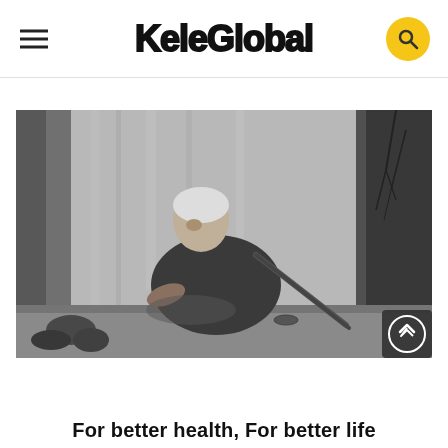KeleGlobal
[Figure (photo): Black and white photograph of an elderly person sitting on the ground, leaning on a long stick/cane, wearing a head wrap and patterned clothing, with a wall and bare trees in the background]
For better health, For better life